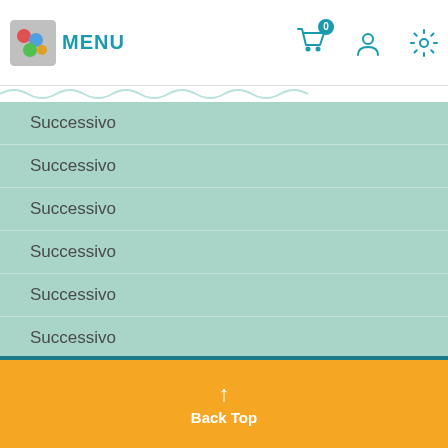MENU
Successivo
Successivo
Successivo
Successivo
Successivo
Successivo
Successivo
Successivo
Successivo
↑ Back Top